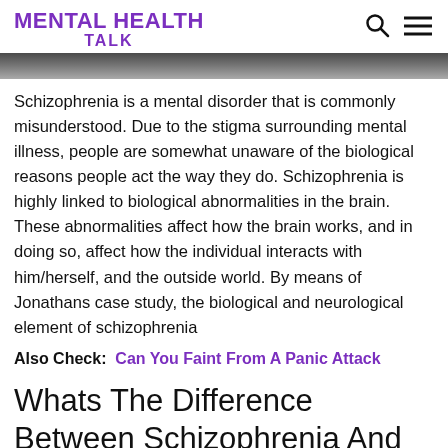MENTAL HEALTH TALK
[Figure (photo): Partial photo of a person, cropped at bottom of header area]
Schizophrenia is a mental disorder that is commonly misunderstood. Due to the stigma surrounding mental illness, people are somewhat unaware of the biological reasons people act the way they do. Schizophrenia is highly linked to biological abnormalities in the brain. These abnormalities affect how the brain works, and in doing so, affect how the individual interacts with him/herself, and the outside world. By means of Jonathans case study, the biological and neurological element of schizophrenia
Also Check: Can You Faint From A Panic Attack
Whats The Difference Between Schizophrenia And Psychosis